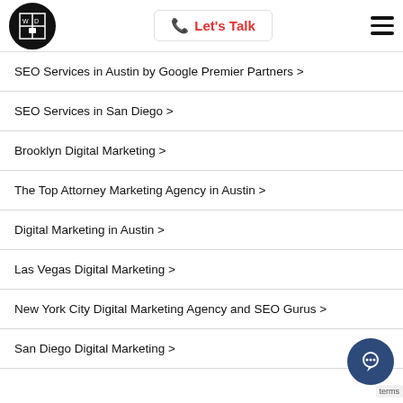Let's Talk [navigation header with logo and hamburger menu]
SEO Services in Austin by Google Premier Partners >
SEO Services in San Diego >
Brooklyn Digital Marketing >
The Top Attorney Marketing Agency in Austin >
Digital Marketing in Austin >
Las Vegas Digital Marketing >
New York City Digital Marketing Agency and SEO Gurus >
San Diego Digital Marketing >